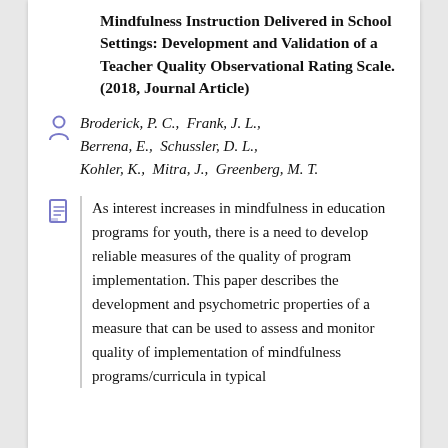Mindfulness Instruction Delivered in School Settings: Development and Validation of a Teacher Quality Observational Rating Scale. (2018, Journal Article)
Broderick, P. C.,  Frank, J. L.,  Berrena, E.,  Schussler, D. L.,  Kohler, K.,  Mitra, J.,  Greenberg, M. T.
As interest increases in mindfulness in education programs for youth, there is a need to develop reliable measures of the quality of program implementation. This paper describes the development and psychometric properties of a measure that can be used to assess and monitor quality of implementation of mindfulness programs/curricula in typical